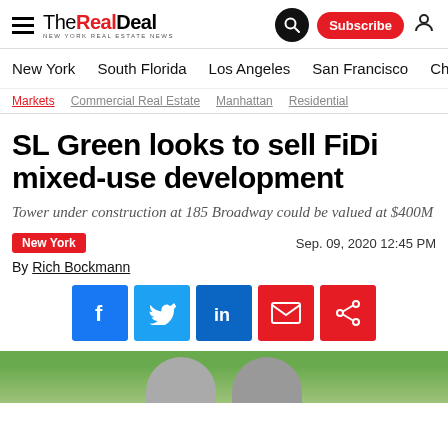The Real Deal — New York Real Estate News
New York  South Florida  Los Angeles  San Francisco  Chic >
Markets  Commercial Real Estate  Manhattan  Residential
SL Green looks to sell FiDi mixed-use development
Tower under construction at 185 Broadway could be valued at $400M
New York   Sep. 09, 2020 12:45 PM
By Rich Bockmann
[Figure (other): Social sharing buttons: Facebook, Twitter, LinkedIn, Email, Share]
[Figure (photo): Photo of person(s) against a green background, partially visible at bottom of page]